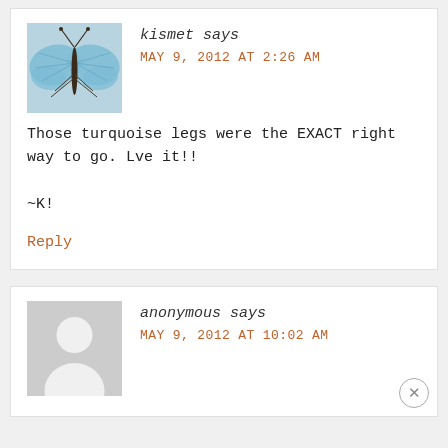[Figure (photo): Avatar photo of a blue butterfly with wings spread, viewed from above, against a pale blue-grey background]
kismet says
MAY 9, 2012 AT 2:26 AM
Those turquoise legs were the EXACT right way to go. Lve it!!

~K!
Reply
[Figure (photo): Grey placeholder avatar with a white circle representing a person silhouette]
anonymous says
MAY 9, 2012 AT 10:02 AM